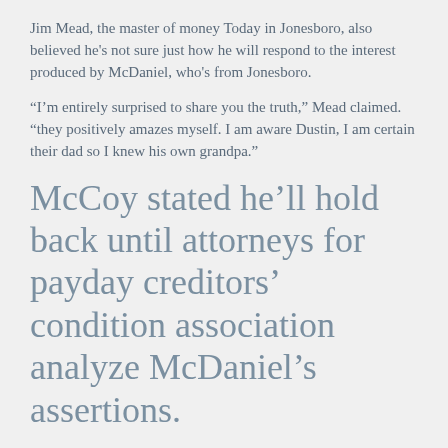Jim Mead, the master of money Today in Jonesboro, also believed he's not sure just how he will respond to the interest produced by McDaniel, who's from Jonesboro.
“I'm entirely surprised to share you the truth,” Mead claimed. “they positively amazes myself. I am aware Dustin, I am certain their dad so I knew his own grandpa.”
McCoy stated he’ll hold back until attorneys for payday creditors’ condition association analyze McDaniel’s assertions.
“We’ll positively adhere to whatever laws being transferred,” McCoy mentioned. “I don’t know whatever we’re going to manage these days, but we’ll take compliance utilizing the guidelines.”
Mead said he can consult with his own representative before making a decision how to handle it following that.